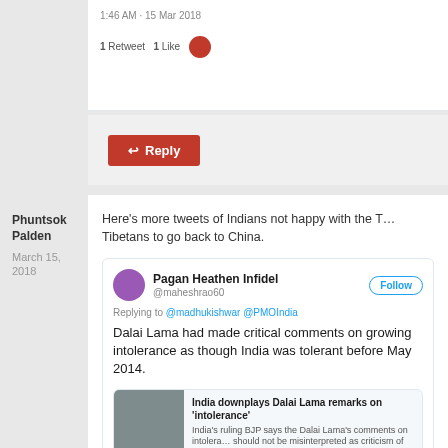1:46 AM - 15 Mar 2018
1 Retweet  1 Like
Reply
Phuntsok Palden
March 15, 2018
Here's more tweets of Indians not happy with the Tibetans to go back to China.
[Figure (screenshot): Embedded tweet from Pagan Heathen Infidel (@maheshrao60) replying to @madhukishwar @PMOIndia: 'Dalai Lama had made critical comments on growing intolerance as though India was tolerant before May 2014.' with a link preview about 'India downplays Dalai Lama remarks on intolerance'. Timestamp: 12:47 AM - 15 Mar 2018. 1 Retweet 1 Like.]
Gopal Bhattacharya @Gopal2406